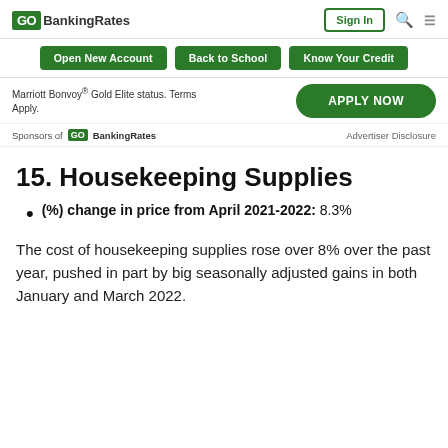GOBankingRates | Sign In
[Figure (screenshot): Navigation bar with Open New Account, Back to School, Know Your Credit buttons]
Marriott Bonvoy® Gold Elite status. Terms Apply.
[Figure (other): APPLY NOW button]
Sponsors of GOBankingRates   Advertiser Disclosure
15. Housekeeping Supplies
(%) change in price from April 2021-2022: 8.3%
The cost of housekeeping supplies rose over 8% over the past year, pushed in part by big seasonally adjusted gains in both January and March 2022.